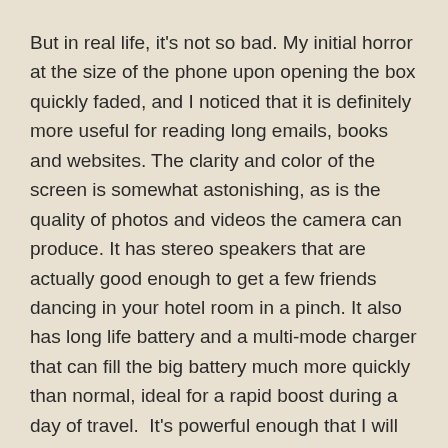But in real life, it's not so bad. My initial horror at the size of the phone upon opening the box quickly faded, and I noticed that it is definitely more useful for reading long emails, books and websites. The clarity and color of the screen is somewhat astonishing, as is the quality of photos and videos the camera can produce. It has stereo speakers that are actually good enough to get a few friends dancing in your hotel room in a pinch. It also has long life battery and a multi-mode charger that can fill the big battery much more quickly than normal, ideal for a rapid boost during a day of travel.  It's powerful enough that I will now start leaving my laptop behind for most trips. And it still fits easily in my pocket.
With a few adjustments to daily life (I stash the phone in a backpack instead of my pocket when doing a harsh day of construction), it works fine for me after all. And for